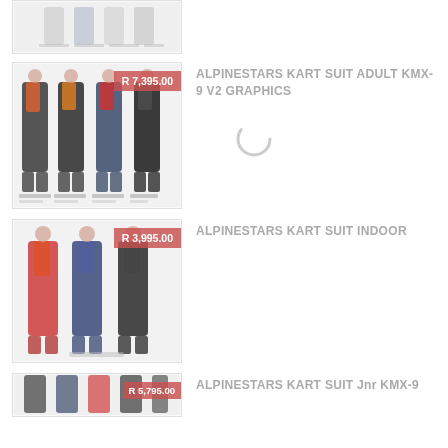[Figure (photo): Partial product image at top of page - kart suit, cropped]
[Figure (photo): Alpinestars Kart Suit Adult KMX-9 V2 Graphics product image showing multiple color variants with price badge R 7,395.00]
ALPINESTARS KART SUIT ADULT KMX-9 V2 GRAPHICS
[Figure (other): Loading spinner icon]
[Figure (photo): Alpinestars Kart Suit Indoor product image showing multiple color variants with price badge R 3,995.00]
ALPINESTARS KART SUIT INDOOR
[Figure (photo): Alpinestars Kart Suit Jnr KMX-9 product image, partially visible, with price badge R 5,795.00]
ALPINESTARS KART SUIT Jnr KMX-9